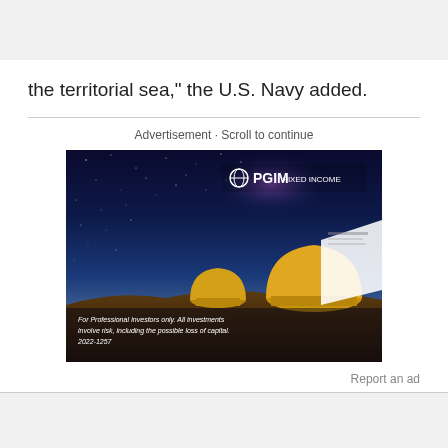the territorial sea," the U.S. Navy added.
Advertisement · Scroll to continue
[Figure (photo): PGIM Fixed Income advertisement featuring observatory domes under a starry night sky. Text reads: 'For Professional Investors only. All investments involve risk, including the possible loss of capital. 2022-1257']
Report an ad